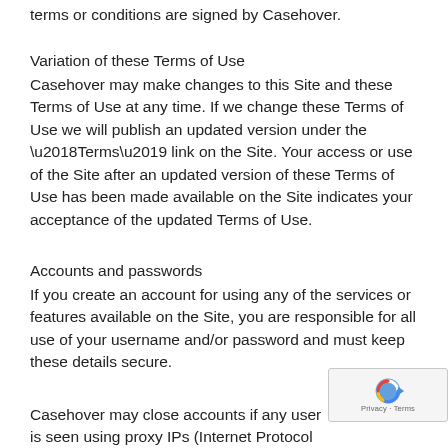terms or conditions are signed by Casehover.
Variation of these Terms of Use
Casehover may make changes to this Site and these Terms of Use at any time. If we change these Terms of Use we will publish an updated version under the ‘Terms’ link on the Site. Your access or use of the Site after an updated version of these Terms of Use has been made available on the Site indicates your acceptance of the updated Terms of Use.
Accounts and passwords
If you create an account for using any of the services or features available on the Site, you are responsible for all use of your username and/or password and must keep these details secure.
Casehover may close accounts if any user is seen using proxy IPs (Internet Protocol addresses) which